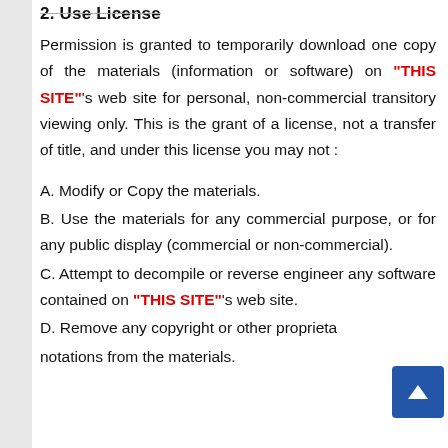2. Use License
Permission is granted to temporarily download one copy of the materials (information or software) on "THIS SITE"'s web site for personal, non-commercial transitory viewing only. This is the grant of a license, not a transfer of title, and under this license you may not :
A. Modify or Copy the materials.
B. Use the materials for any commercial purpose, or for any public display (commercial or non-commercial).
C. Attempt to decompile or reverse engineer any software contained on "THIS SITE"'s web site.
D. Remove any copyright or other proprietary notations from the materials.